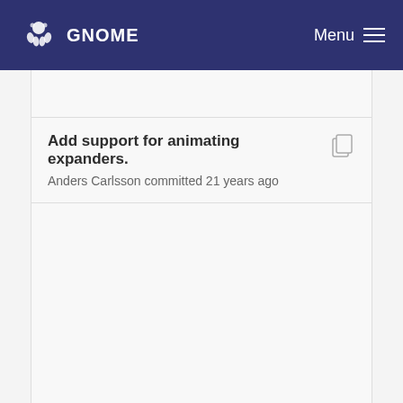GNOME  Menu
Add support for animating expanders.
Anders Carlsson committed 21 years ago